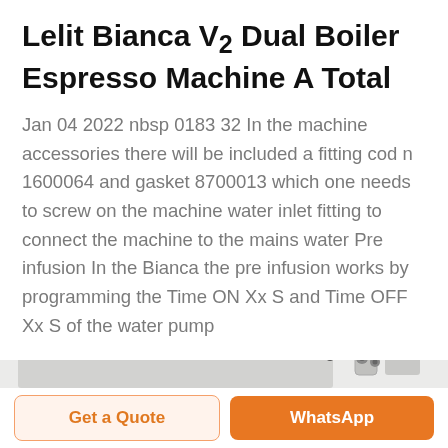Lelit Bianca V2 Dual Boiler Espresso Machine A Total
Jan 04 2022 nbsp 0183 32 In the machine accessories there will be included a fitting cod n 1600064 and gasket 8700013 which one needs to screw on the machine water inlet fitting to connect the machine to the mains water Pre infusion In the Bianca the pre infusion works by programming the Time ON Xx S and Time OFF Xx S of the water pump
[Figure (photo): Partial view of a Lelit Bianca V2 espresso machine showing the stainless steel body on the left and pump/boiler components on the right, against a light gray background.]
Get a Quote
WhatsApp